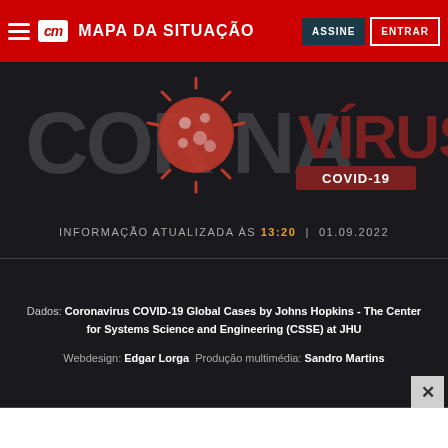CM MAPA DA SITUAÇÃO | ASSINE | ENTRAR
[Figure (illustration): Coronavirus COVID-19 stylized title graphic with virus imagery on dark background, text reads CORONAVÍRUS COVID-19]
INFORMAÇÃO ATUALIZADA ÀS 13:20 | 01.09.2022
Dados: Coronavirus COVID-19 Global Cases by Johns Hopkins - The Center for Systems Science and Engineering (CSSE) at JHU
Webdesign: Edgar Lorga Produção multimédia: Sandro Martins